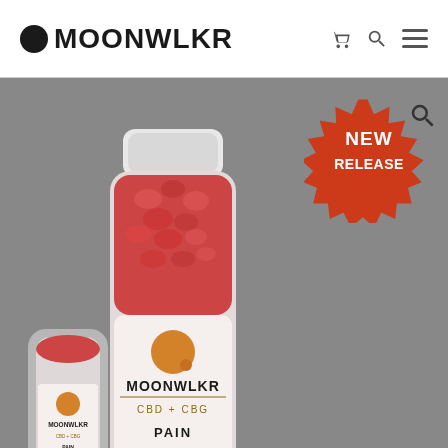MOONWLKR navigation bar with logo, cart, search, and menu icons
[Figure (photo): A bottle of MOONWLKR CBD + CBG Pain gummies (25mg CBD + 10mg CBG, Mixed Berries flavor) filled with red/pink gummies, shown against a grey background, with a smaller product visible to the left. A red starburst 'NEW RELEASE' badge is shown in the upper right. A magnifier icon overlays the upper-right corner.]